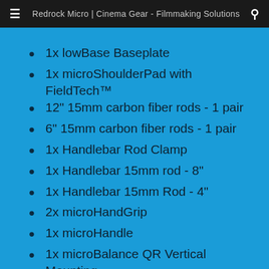≡  Redrock Micro | Cinema Gear - Filmmaking Solutions  🔍
1x lowBase Baseplate
1x microShoulderPad with FieldTech™
12" 15mm carbon fiber rods - 1 pair
6" 15mm carbon fiber rods - 1 pair
1x Handlebar Rod Clamp
1x Handlebar 15mm rod - 8"
1x Handlebar 15mm Rod - 4"
2x microHandGrip
1x microHandle
1x microBalance QR Vertical Mounting Adapter